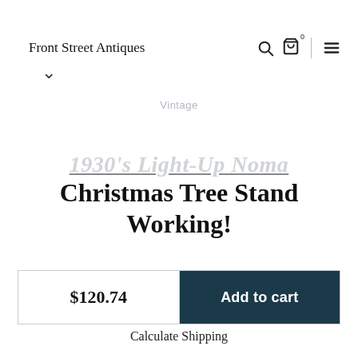Front Street Antiques
Vintage
1930's Light-Up Noma Christmas Tree Stand Working!
$120.74
Add to cart
Calculate Shipping